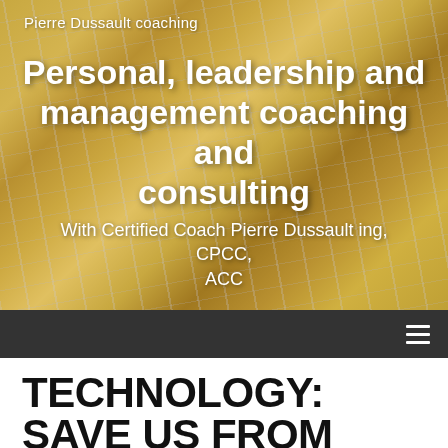[Figure (photo): Architectural interior photo showing a ceiling structure with geometric grid patterns and warm golden/amber lighting, used as a website header banner background]
Pierre Dussault coaching
Personal, leadership and management coaching and consulting
With Certified Coach Pierre Dussault ing, CPCC, ACC
TECHNOLOGY: SAVE US FROM OURSELVES! ARTICLE #2 –